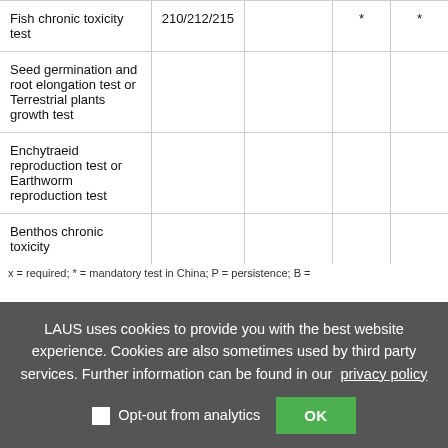| Fish chronic toxicity test | 210/212/215 |  | * | * |
| Seed germination and root elongation test or Terrestrial plants growth test |  |  |  |  |
| Enchytraeid reproduction test or Earthworm reproduction test |  |  |  |  |
| Benthos chronic toxicity |  |  |  |  |
x = required; * = mandatory test in China; P = persistence; B =
LAUS uses cookies to provide you with the best website experience. Cookies are also sometimes used by third party services. Further information can be found in our privacy policy